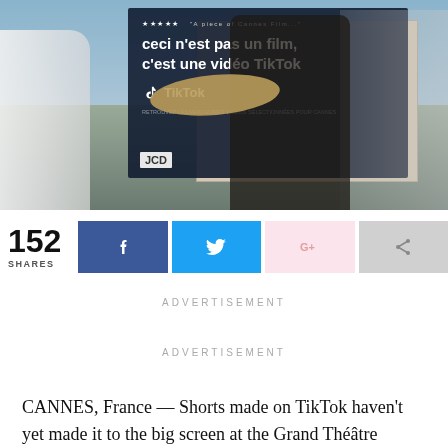[Figure (photo): Street scene in Cannes with a large TikTok billboard in the background reading 'ceci n'est pas un film, c'est une vidéo TikTok'. Pedestrians are visible in the foreground including a woman in a wide-brim hat and a man in a black tank top.]
152 SHARES
[Figure (infographic): Social share bar with four buttons: Facebook (blue), Twitter (light blue), Google+ (light pink), and a generic share button (gray).]
ADVERTISEMENT
ADVERTISEMENT
CANNES, France — Shorts made on TikTok haven't yet made it to the big screen at the Grand Théâtre Lumière.